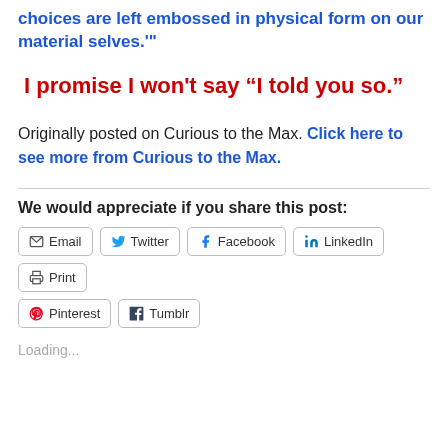choices are left embossed in physical form on our material selves.'"
I promise I won't say “I told you so.”
Originally posted on Curious to the Max. Click here to see more from Curious to the Max.
We would appreciate if you share this post:
Email  Twitter  Facebook  LinkedIn  Print  Pinterest  Tumblr
Loading...